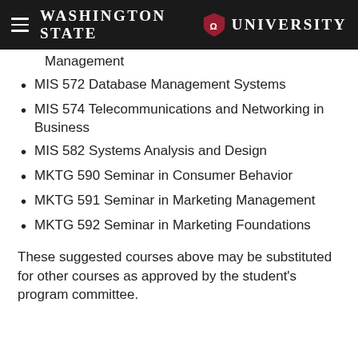Washington State University
Management
MIS 572 Database Management Systems
MIS 574 Telecommunications and Networking in Business
MIS 582 Systems Analysis and Design
MKTG 590 Seminar in Consumer Behavior
MKTG 591 Seminar in Marketing Management
MKTG 592 Seminar in Marketing Foundations
These suggested courses above may be substituted for other courses as approved by the student's program committee.